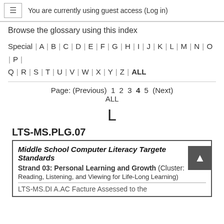≡  You are currently using guest access (Log in)
Browse the glossary using this index
Special | A | B | C | D | E | F | G | H | I | J | K | L | M | N | O | P | Q | R | S | T | U | V | W | X | Y | Z | ALL
Page: (Previous) 1 2 3 4 5 (Next)
ALL
L
LTS-MS.PLG.07
Middle School Computer Literacy Targeted Standards
Strand 03: Personal Learning and Growth (Cluster: Reading, Listening, and Viewing for Life-Long Learning)